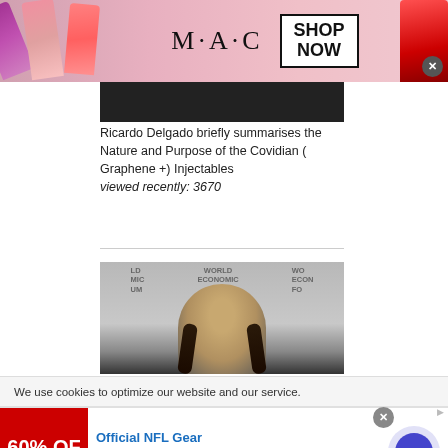[Figure (photo): MAC cosmetics advertisement banner with lipsticks on left, MAC logo and SHOP NOW box in center, red lipstick on right, with close X button]
[Figure (photo): Thumbnail image strip - dark background]
Ricardo Delgado briefly summarises the Nature and Purpose of the Covidian ( Graphene +) Injectables viewed recently: 3670
[Figure (photo): Greta Thunberg at World Economic Forum - young woman with braids in front of WEF backdrop]
We use cookies to optimize our website and our service.
[Figure (photo): NFL advertisement: Official NFL Gear - 60% OFF - Get Your Favorite Team's Gear Here - www.nflshop.com with arrow button]